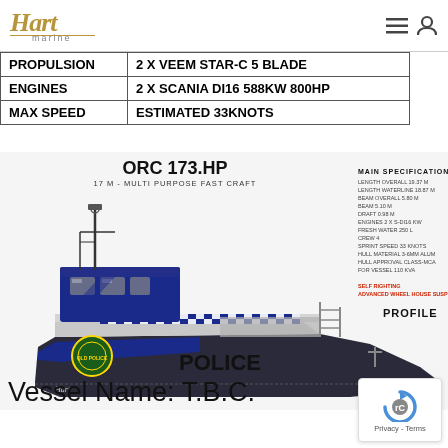Hart Marine logo and navigation icons
| Specification | Value |
| --- | --- |
| PROPULSION | 2 X VEEM STAR-C 5 BLADE |
| ENGINES | 2 X SCANIA DI16 588KW 800HP |
| MAX SPEED | ESTIMATED 33KNOTS |
[Figure (engineering-diagram): Profile schematic of ORC 173.HP, a 17M multi purpose fast craft police vessel in blue and white livery with police markings and Queensland Police badge. Main specifications listed on the right side. Title: ORC 173.HP, subtitle: 17 M - MULTI PURPOSE FAST CRAFT. Labels: MAIN SPECIFICATIONS, SELF RIGHTING, ADVANCED WHEEL HOUSE SUSPENSION, PROFILE.]
Vessel Name: T.B.C.
[Figure (logo): Privacy - Terms reCAPTCHA badge]